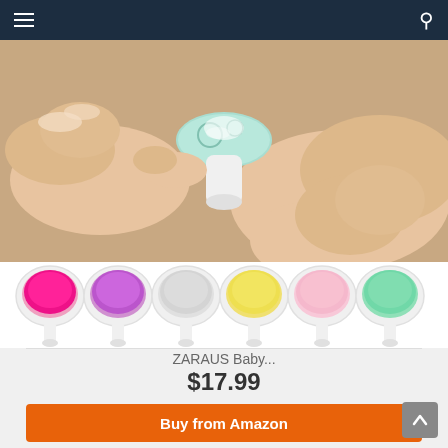[Figure (screenshot): Mobile app navigation bar with hamburger menu on left and search icon on right, dark navy background]
[Figure (photo): Close-up photo of hands holding a small round baby nail file device with mint/teal color top]
[Figure (photo): Six colorful replacement nail file pads in hot pink, purple, light gray, yellow, light pink, and mint green colors, each mounted on white stems]
ZARAUS Baby...
$17.99
Buy from Amazon